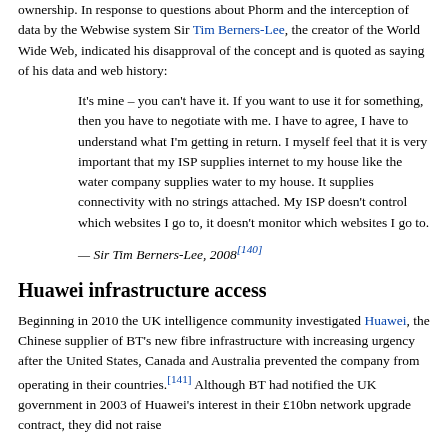ownership. In response to questions about Phorm and the interception of data by the Webwise system Sir Tim Berners-Lee, the creator of the World Wide Web, indicated his disapproval of the concept and is quoted as saying of his data and web history:
It's mine – you can't have it. If you want to use it for something, then you have to negotiate with me. I have to agree, I have to understand what I'm getting in return. I myself feel that it is very important that my ISP supplies internet to my house like the water company supplies water to my house. It supplies connectivity with no strings attached. My ISP doesn't control which websites I go to, it doesn't monitor which websites I go to.
— Sir Tim Berners-Lee, 2008[140]
Huawei infrastructure access
Beginning in 2010 the UK intelligence community investigated Huawei, the Chinese supplier of BT's new fibre infrastructure with increasing urgency after the United States, Canada and Australia prevented the company from operating in their countries.[141] Although BT had notified the UK government in 2003 of Huawei's interest in their £10bn network upgrade contract, they did not raise